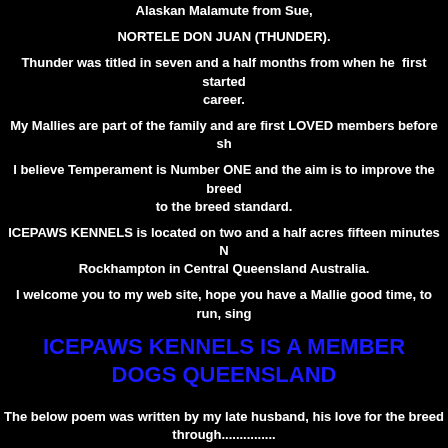Alaskan Malamute from Sue,
NORTELE DON JUAN (THUNDER).
Thunder was titled in seven and a half months from when he first started career.
My Mallies are part of the family and are first LOVED members before sh
I believe Temperament is Number ONE and the aim is to improve the breed to the breed standard.
ICEPAWS KENNELS is located on two and a half acres fifteen minutes N Rockhampton in Central Queensland Australia.
I welcome you to my web site, hope you have a Mallie good time, to run, sing
ICEPAWS KENNELS IS A MEMBER DOGS QUEENSLAND
The below poem was written by my late husband, his love for the breed through...............